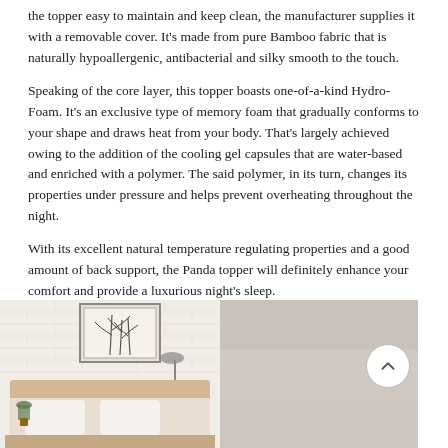the topper easy to maintain and keep clean, the manufacturer supplies it with a removable cover. It's made from pure Bamboo fabric that is naturally hypoallergenic, antibacterial and silky smooth to the touch.
Speaking of the core layer, this topper boasts one-of-a-kind Hydro-Foam. It's an exclusive type of memory foam that gradually conforms to your shape and draws heat from your body. That's largely achieved owing to the addition of the cooling gel capsules that are water-based and enriched with a polymer. The said polymer, in its turn, changes its properties under pressure and helps prevent overheating throughout the night.
With its excellent natural temperature regulating properties and a good amount of back support, the Panda topper will definitely enhance your comfort and provide a luxurious night's sleep.
[Figure (photo): Two side-by-side photos: left shows a bedroom scene with a bed, white pillows, a bamboo plant painting on a white brick wall, and a lamp; right shows a close-up of a beige/grey foam or mattress topper surface.]